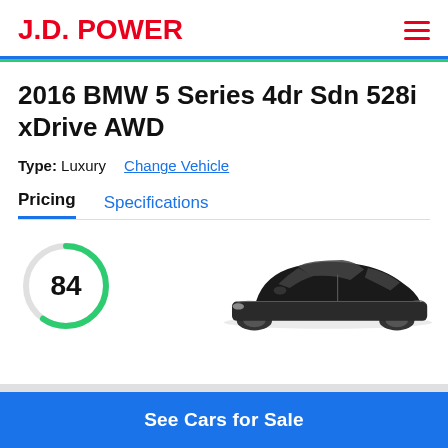J.D. POWER
2016 BMW 5 Series 4dr Sdn 528i xDrive AWD
Type: Luxury   Change Vehicle
Pricing   Specifications
[Figure (infographic): Score circle showing 84 rating in green, with partial arc. Beside it is a cropped photo of a black BMW 5 Series sedan.]
See Cars for Sale